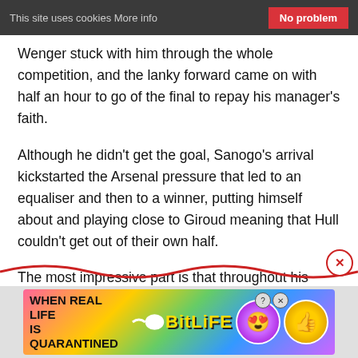This site uses cookies More info   No problem
Wenger stuck with him through the whole competition, and the lanky forward came on with half an hour to go of the final to repay his manager's faith.
Although he didn't get the goal, Sanogo's arrival kickstarted the Arsenal pressure that led to an equaliser and then to a winner, putting himself about and playing close to Giroud meaning that Hull couldn't get out of their own half.
The most impressive part is that throughout his game time, he didn't give the impression of having much control of his body or his performances at all.
[Figure (screenshot): BitLife advertisement banner with rainbow gradient background, text 'WHEN REAL LIFE IS QUARANTINED', BitLife logo, and emoji icons]